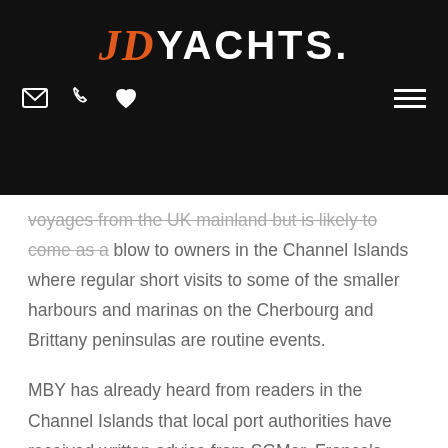JD YACHTS.
voyages from the UK mainland but is likely to come as a blow to owners in the Channel Islands where regular short visits to some of the smaller harbours and marinas on the Cherbourg and Brittany peninsulas are routine events.
MBY has already heard from readers in the Channel Islands that local port authorities have received written advice from SGMer, France's national maritime authority, warning them of this new requirement.
The change in status also means British citizens will only be allowed to spend 90 days in a rolling 180-day period in the Schengen Area of the EU before previously on being in...